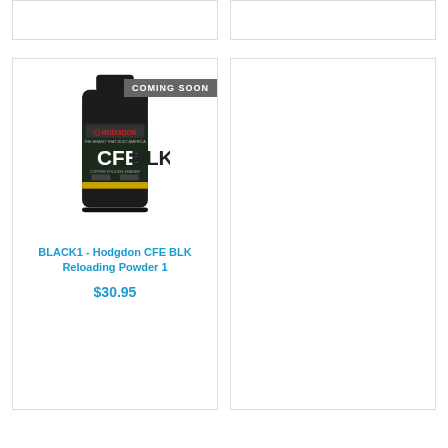[Figure (other): Placeholder product card top-left, partially visible]
[Figure (other): Placeholder product card top-right, partially visible]
[Figure (photo): Hodgdon CFE BLK Reloading Powder 1 lb bottle, black canister with yellow label showing CFE BLK branding and Hodgdon logo, with a gray COMING SOON banner overlay]
BLACK1 - Hodgdon CFE BLK Reloading Powder 1
$30.95